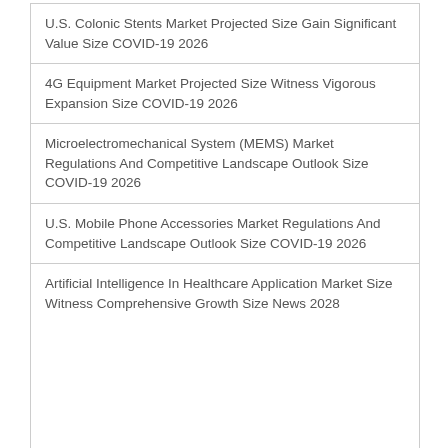U.S. Colonic Stents Market Projected Size Gain Significant Value Size COVID-19 2026
4G Equipment Market Projected Size Witness Vigorous Expansion Size COVID-19 2026
Microelectromechanical System (MEMS) Market Regulations And Competitive Landscape Outlook Size COVID-19 2026
U.S. Mobile Phone Accessories Market Regulations And Competitive Landscape Outlook Size COVID-19 2026
Artificial Intelligence In Healthcare Application Market Size Witness Comprehensive Growth Size News 2028